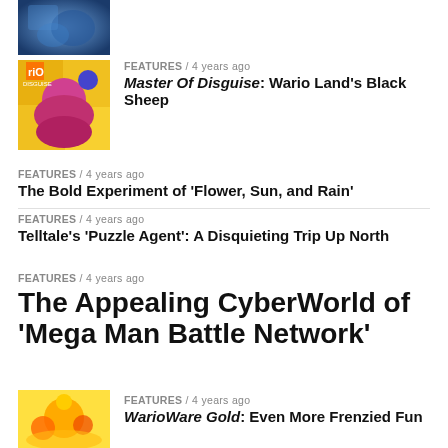[Figure (photo): Partial thumbnail image of a video game at the top of the page, cropped]
[Figure (photo): Thumbnail image for Wario: Master of Disguise article, colorful cartoon art]
FEATURES / 4 years ago
Master Of Disguise: Wario Land's Black Sheep
FEATURES / 4 years ago
The Bold Experiment of 'Flower, Sun, and Rain'
FEATURES / 4 years ago
Telltale's 'Puzzle Agent': A Disquieting Trip Up North
FEATURES / 4 years ago
The Appealing CyberWorld of 'Mega Man Battle Network'
[Figure (photo): Thumbnail image for WarioWare Gold article]
FEATURES / 4 years ago
WarioWare Gold: Even More Frenzied Fun